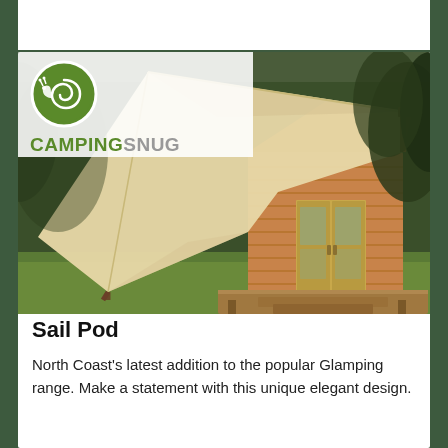[Figure (logo): CampingSnug logo: green circular icon with a snail/camping motif and the text CAMPING in green bold and SNUG in grey bold]
[Figure (photo): A glamping sail pod: a modern wooden cabin structure with large cream-coloured sail-like canvas canopy sweeping from the ground up and over the wooden cabin, which has double glass doors and a wooden deck, set on green grass with trees in background]
Sail Pod
North Coast's latest addition to the popular Glamping range. Make a statement with this unique elegant design.